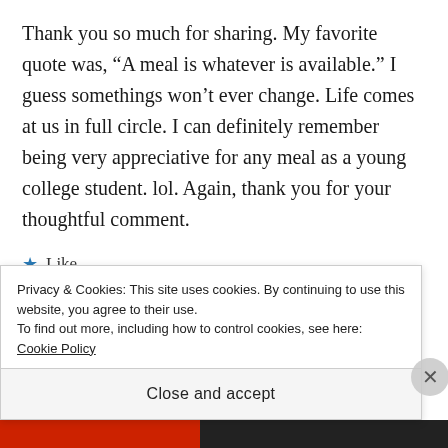Thank you so much for sharing. My favorite quote was, “A meal is whatever is available.” I guess somethings won’t ever change. Life comes at us in full circle. I can definitely remember being very appreciative for any meal as a young college student. lol. Again, thank you for your thoughtful comment.
★ Like
Privacy & Cookies: This site uses cookies. By continuing to use this website, you agree to their use.
To find out more, including how to control cookies, see here: Cookie Policy
Close and accept